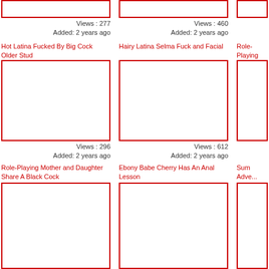[Figure (photo): Video thumbnail placeholder top-left (cropped)]
Views : 277
Added: 2 years ago
[Figure (photo): Video thumbnail placeholder top-center (cropped)]
Views : 460
Added: 2 years ago
[Figure (photo): Video thumbnail placeholder top-right (cropped)]
Hot Latina Fucked By Big Cock Older Stud
Hairy Latina Selma Fuck and Facial
Role-Playing Sha...
[Figure (photo): Video thumbnail placeholder middle-left]
Views : 296
Added: 2 years ago
[Figure (photo): Video thumbnail placeholder middle-center]
Views : 612
Added: 2 years ago
[Figure (photo): Video thumbnail placeholder middle-right (cropped)]
Role-Playing Mother and Daughter Share A Black Cock
Ebony Babe Cherry Has An Anal Lesson
Sum Adve...
[Figure (photo): Video thumbnail placeholder bottom-left (cropped)]
[Figure (photo): Video thumbnail placeholder bottom-center (cropped)]
[Figure (photo): Video thumbnail placeholder bottom-right (cropped)]